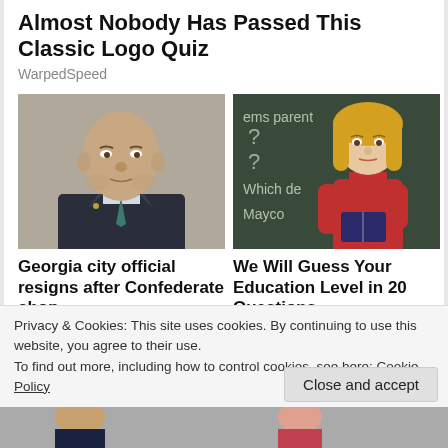Almost Nobody Has Passed This Classic Logo Quiz
WarpedSpeed
[Figure (photo): Headshot of an older bald man in a dark suit with a teal tie, against a neutral background]
[Figure (photo): Blonde woman in a red top standing in front of a chalkboard with math/quiz questions written on it]
Georgia city official resigns after Confederate shop...
The Grio
We Will Guess Your Education Level in 20 Questions
Bon Voyaged
Privacy & Cookies: This site uses cookies. By continuing to use this website, you agree to their use.
To find out more, including how to control cookies, see here: Cookie Policy
Close and accept
[Figure (photo): Partial bottom strip showing cropped image of people]